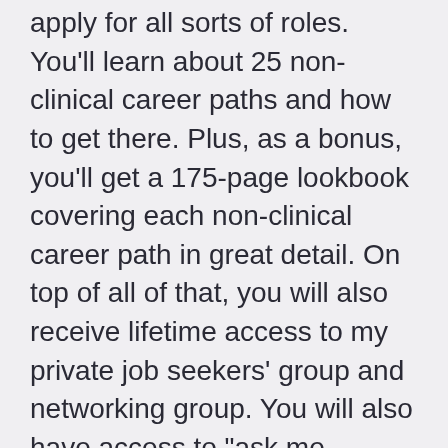apply for all sorts of roles. You'll learn about 25 non-clinical career paths and how to get there. Plus, as a bonus, you'll get a 175-page lookbook covering each non-clinical career path in great detail. On top of all of that, you will also receive lifetime access to my private job seekers' group and networking group. You will also have access to "ask me anything" group Q&A sessions.
I'm an OT or SLP. Is this course for me?
Yep! I have included content (and resume/cover letter templates) that applies to all three disciplines, including assistants